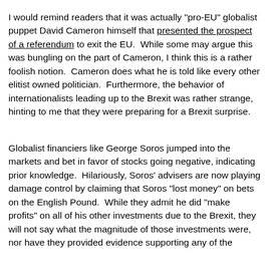I would remind readers that it was actually "pro-EU" globalist puppet David Cameron himself that presented the prospect of a referendum to exit the EU.  While some may argue this was bungling on the part of Cameron, I think this is a rather foolish notion.  Cameron does what he is told like every other elitist owned politician.  Furthermore, the behavior of internationalists leading up to the Brexit was rather strange, hinting to me that they were preparing for a Brexit surprise.
Globalist financiers like George Soros jumped into the markets and bet in favor of stocks going negative, indicating prior knowledge.  Hilariously, Soros' advisers are now playing damage control by claiming that Soros "lost money" on bets on the English Pound.  While they admit he did "make profits" on all of his other investments due to the Brexit, they will not say what the magnitude of those investments were, nor have they provided evidence supporting any of the